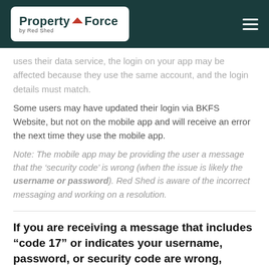PropertyForce by Red Shed
uses their data service, the login on your app may be affected because they use the same account, and the login details must match.
Some users may have updated their login via BKFS Website, but not on the mobile app and will receive an error the next time they use the mobile app.
Note: The mobile app may be providing the user a message that the ‘security code’ is wrong (when the issue is likely the username or password). Red Shed is aware of the incorrect messaging and working on a resolution.
If you are receiving a message that includes “code 17” or indicates your username, password, or security code are wrong, follow these steps: